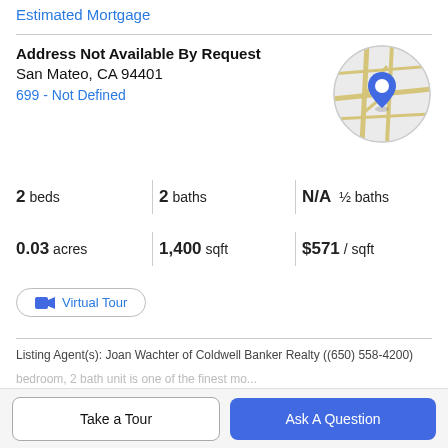Estimated Mortgage
Address Not Available By Request
San Mateo, CA 94401
699 - Not Defined
[Figure (map): Circular map thumbnail showing street map with a blue location pin marker]
2 beds | 2 baths | N/A ½ baths
0.03 acres | 1,400 sqft | $571 / sqft
Virtual Tour
Listing Agent(s): Joan Wachter of Coldwell Banker Realty ((650) 558-4200)
Property Description
Take a Tour
Ask A Question